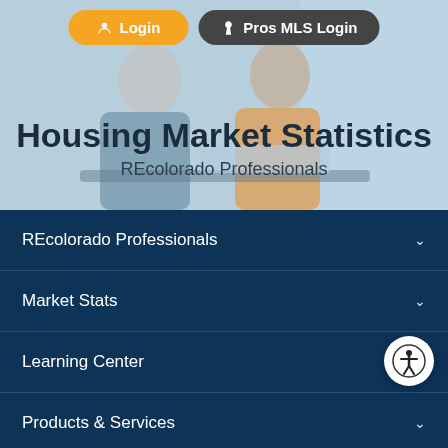[Figure (screenshot): Hero banner with two women at a desk, partially visible. Orange Login button and dark Pros MLS Login button at top. Text overlay: Housing Market Statistics / REcolorado Professionals]
Housing Market Statistics
REcolorado Professionals
REcolorado Professionals
Market Stats
Learning Center
Products & Services
My REcolorado Account